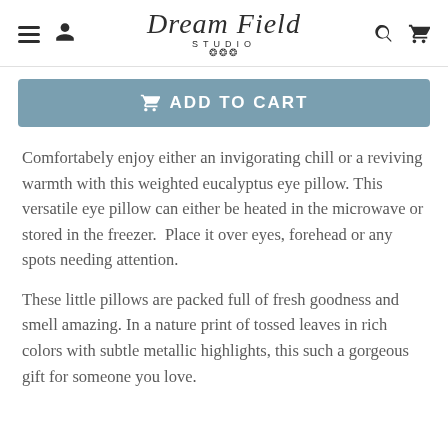Dream Field STUDIO — navigation header with hamburger menu, user icon, search icon, cart icon
[Figure (other): Add to Cart button with cart icon, steel blue background, white bold text reading ADD TO CART]
Comfortabely enjoy either an invigorating chill or a reviving warmth with this weighted eucalyptus eye pillow. This versatile eye pillow can either be heated in the microwave or stored in the freezer.  Place it over eyes, forehead or any spots needing attention.
These little pillows are packed full of fresh goodness and smell amazing. In a nature print of tossed leaves in rich colors with subtle metallic highlights, this such a gorgeous gift for someone you love.